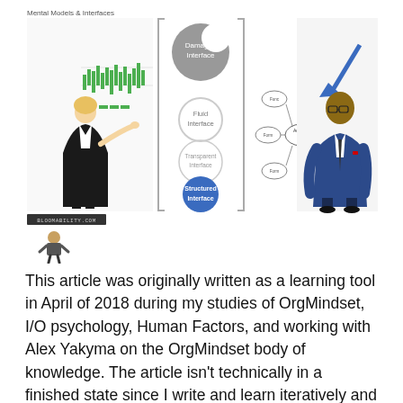Mental Models & Interfaces
[Figure (infographic): Composite illustration with: a woman in black suit pointing at a green bar chart; a vertical diagram showing interface levels (Damaged Interface, Fluid Interface, Transparent Interface, Structured Interface in blue); a network/mind map diagram with nodes; a man in blue suit looking down with a blue arrow pointing at him]
[Figure (logo): Small logo image with text 'BLOOMABILITY.COM' and a cartoon figure beneath it]
This article was originally written as a learning tool in April of 2018 during my studies of OrgMindset, I/O psychology, Human Factors, and working with Alex Yakyma on the OrgMindset body of knowledge. The article isn't technically in a finished state since I write and learn iteratively and incrementally (so, look for updates in the future). The concepts presented here are